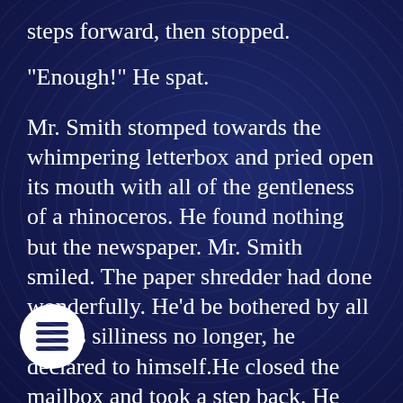steps forward, then stopped.
"Enough!" He spat.
Mr. Smith stomped towards the whimpering letterbox and pried open its mouth with all of the gentleness of a rhinoceros. He found nothing but the newspaper. Mr. Smith smiled. The paper shredder had done wonderfully. He'd be bothered by all of this silliness no longer, he declared to himself.He closed the mailbox and took a step back. He heard the sh and agonizingly loud sound of a paper ing. There was hardly any reason at ooking down, but he did so anyways. It was the map.
[Figure (logo): Round white circle logo with blue stacked horizontal lines/waves icon inside]